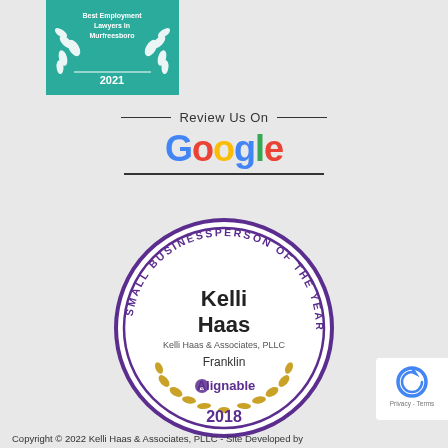[Figure (logo): Best Employment Lawyers in Murfreesboro 2021 award badge (teal/green background with laurel wreath)]
— Review Us On —
[Figure (logo): Google logo in multicolor letters: G(blue)o(red)o(yellow)g(blue)l(green)e(red) with underline]
[Figure (other): Alignable Small Businessperson of the Year 2018 circular badge. Contains: Kelli Haas, Kelli Haas & Associates PLLC, Franklin, Alignable logo, 2018. Purple border ring with gold laurel wreath at bottom.]
Copyright © 2022 Kelli Haas & Associates, PLLC - Site Developed by